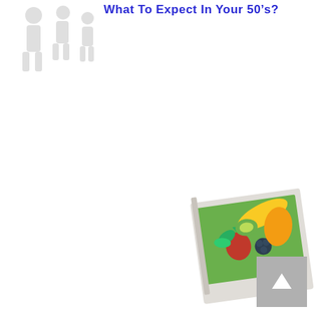[Figure (photo): Faded/watermark style image of a person or figure in upper left corner]
What To Expect In Your 50's?
[Figure (photo): A colorful fruit salad/bowl image shown as an angled book or card in the bottom center-right area of the page]
[Figure (other): Gray scroll-to-top button with upward arrow in bottom right corner]